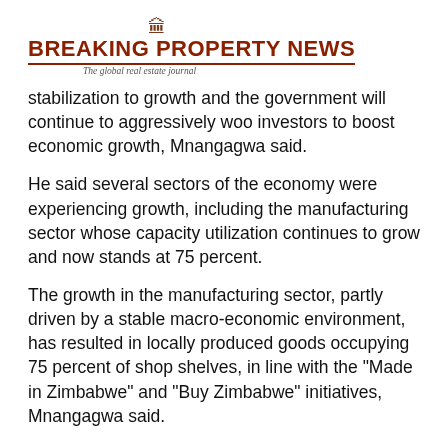BREAKING PROPERTY NEWS – The global real estate journal
stabilization to growth and the government will continue to aggressively woo investors to boost economic growth, Mnangagwa said.
He said several sectors of the economy were experiencing growth, including the manufacturing sector whose capacity utilization continues to grow and now stands at 75 percent.
The growth in the manufacturing sector, partly driven by a stable macro-economic environment, has resulted in locally produced goods occupying 75 percent of shop shelves, in line with the "Made in Zimbabwe" and "Buy Zimbabwe" initiatives, Mnangagwa said.